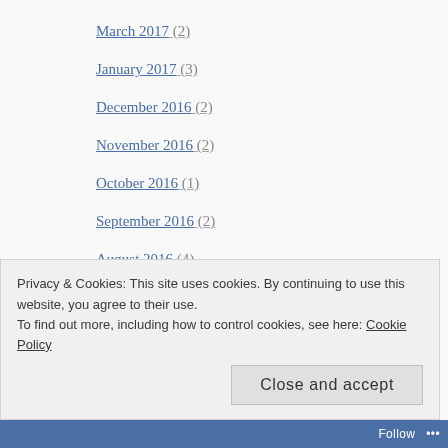March 2017 (2)
January 2017 (3)
December 2016 (2)
November 2016 (2)
October 2016 (1)
September 2016 (2)
August 2016 (4)
July 2016 (3)
June 2016 (5)
May 2016 (6)
Privacy & Cookies: This site uses cookies. By continuing to use this website, you agree to their use. To find out more, including how to control cookies, see here: Cookie Policy
Close and accept